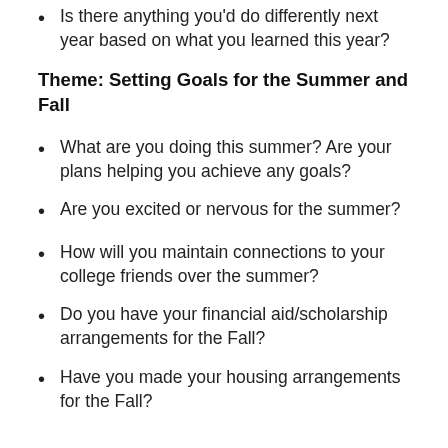Is there anything you'd do differently next year based on what you learned this year?
Theme: Setting Goals for the Summer and Fall
What are you doing this summer? Are your plans helping you achieve any goals?
Are you excited or nervous for the summer?
How will you maintain connections to your college friends over the summer?
Do you have your financial aid/scholarship arrangements for the Fall?
Have you made your housing arrangements for the Fall?